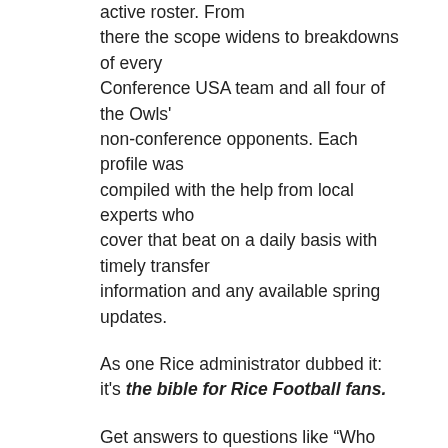active roster. From there the scope widens to breakdowns of every Conference USA team and all four of the Owls' non-conference opponents. Each profile was compiled with the help from local experts who cover that beat on a daily basis with timely transfer information and any available spring updates.
As one Rice administrator dubbed it: it's the bible for Rice Football fans.
Get answers to questions like “Who has the leg up in the Rice quarterback battle?” or “Which incoming players could make the biggest impact?” or “Who are the top returning players Rice will face in Conference USA?”
This year’s edition included a feature story based